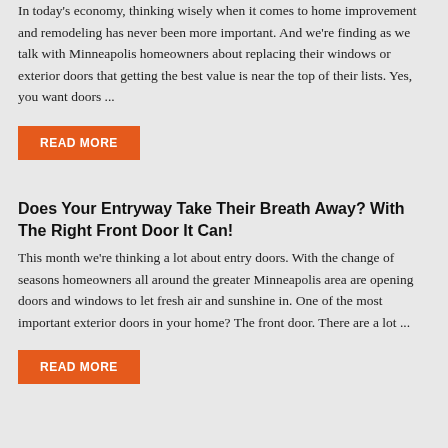In today's economy, thinking wisely when it comes to home improvement and remodeling has never been more important.  And we're finding as we talk with Minneapolis homeowners about replacing their windows or exterior doors that getting the best value is near the top of their lists.  Yes, you want doors ...
READ MORE
Does Your Entryway Take Their Breath Away? With The Right Front Door It Can!
This month we're thinking a lot about entry doors.  With the change of seasons homeowners all around the greater Minneapolis area are opening doors and windows to let fresh air and sunshine in.  One of the most important exterior doors in your home?  The front door.  There are a lot ...
READ MORE